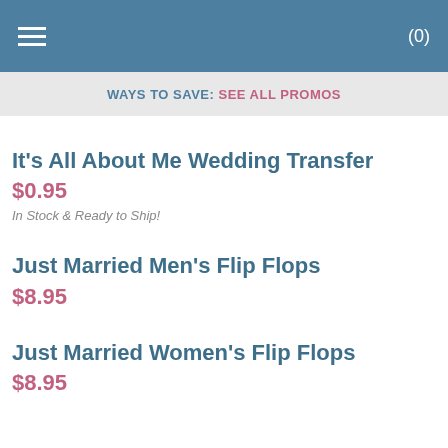(0)
WAYS TO SAVE: SEE ALL PROMOS
It's All About Me Wedding Transfer
$0.95
In Stock & Ready to Ship!
Just Married Men's Flip Flops
$8.95
Just Married Women's Flip Flops
$8.95